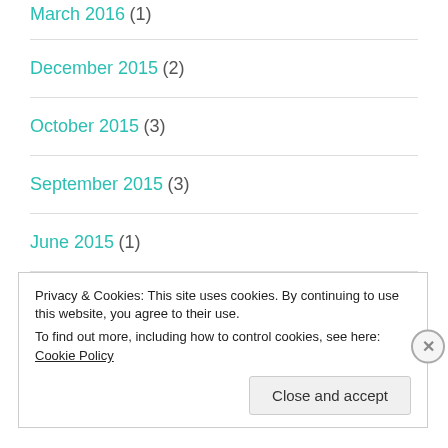March 2016 (1)
December 2015 (2)
October 2015 (3)
September 2015 (3)
June 2015 (1)
May 2015 (5)
Privacy & Cookies: This site uses cookies. By continuing to use this website, you agree to their use.
To find out more, including how to control cookies, see here: Cookie Policy